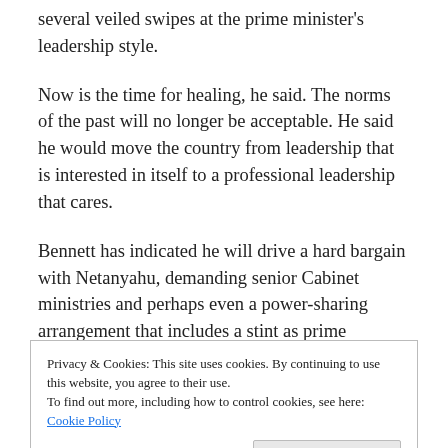several veiled swipes at the prime minister's leadership style.
Now is the time for healing, he said. The norms of the past will no longer be acceptable. He said he would move the country from leadership that is interested in itself to a professional leadership that cares.
Bennett has indicated he will drive a hard bargain with Netanyahu, demanding senior Cabinet ministries and perhaps even a power-sharing arrangement that includes a stint as prime minister.
In addition, their partners would also include a pair of ultra-
Privacy & Cookies: This site uses cookies. By continuing to use this website, you agree to their use.
To find out more, including how to control cookies, see here: Cookie Policy
Close and accept
was assassinated in New York in 1990.